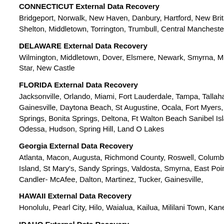CONNECTICUT External Data Recovery
Bridgeport, Norwalk, New Haven, Danbury, Hartford, New Britain, Stamford, Shelton, Middletown, Torrington, Trumbull, Central Manchester
DELAWARE External Data Recovery
Wilmington, Middletown, Dover, Elsmere, Newark, Smyrna, Milford, New Star, New Castle
FLORIDA External Data Recovery
Jacksonville, Orlando, Miami, Fort Lauderdale, Tampa, Tallahassee, St. Petersburg, Gainesville, Daytona Beach, St Augustine, Ocala, Fort Myers, Boca Raton, Coral Springs, Bonita Springs, Deltona, Ft Walton Beach Sanibel Island, Panama City, Odessa, Hudson, Spring Hill, Land O Lakes
Georgia External Data Recovery
Atlanta, Macon, Augusta, Richmond County, Roswell, Columbus, Albany, Jekyll Island, St Mary's, Sandy Springs, Valdosta, Smyrna, East Point, North Atlanta, Candler- McAfee, Dalton, Martinez, Tucker, Gainesville,
HAWAII External Data Recovery
Honolulu, Pearl City, Hilo, Waialua, Kailua, Mililani Town, Kaneohe, Kahului
IDAHO External Data Recovery
Boise, Coeur d'Alene, Nampa, Twin Falls, Pocatello, Lewiston, Idaho Falls